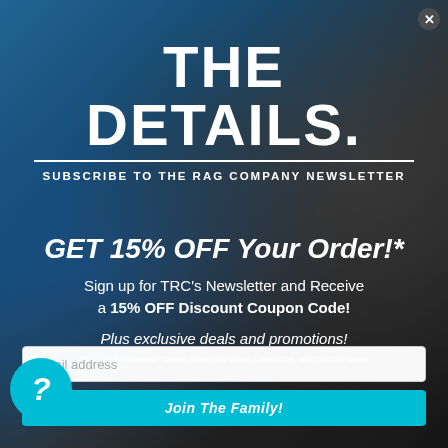[Figure (photo): Background photo of a person in a dark jacket standing near a blue car, viewed from behind, with long curly hair and a cap]
THE DETAILS.
SUBSCRIBE TO THE RAG COMPANY NEWSLETTER
GET 15% OFF Your Order!*
Sign up for TRC's Newsletter and Receive a 15% OFF Discount Coupon Code!
Plus exclusive deals and promotions!
*Excludes Wholesale Cases, Everyday Value, Clearance, and On Sale Items